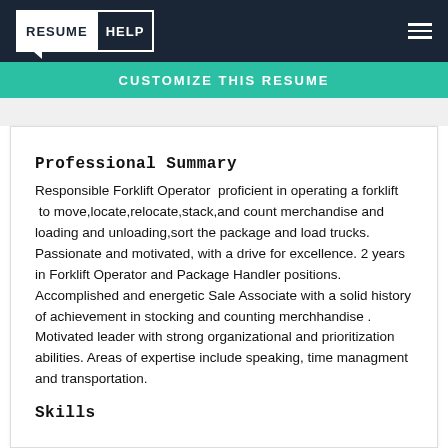RESUME HELP
CUSTOMIZE THIS RESUME
Professional Summary
Responsible Forklift Operator  proficient in operating a forklift  to move,locate,relocate,stack,and count merchandise and loading and unloading,sort the package and load trucks. Passionate and motivated, with a drive for excellence. 2 years in Forklift Operator and Package Handler positions. Accomplished and energetic Sale Associate with a solid history of achievement in stocking and counting merchhandise . Motivated leader with strong organizational and prioritization abilities. Areas of expertise include speaking, time managment and transportation.
Skills